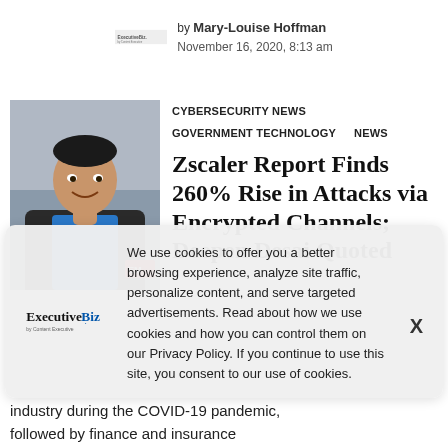by Mary-Louise Hoffman
November 16, 2020, 8:13 am
[Figure (photo): Headshot of Deepen Desai, man in blue shirt and dark blazer, smiling, with EM logo visible]
CYBERSECURITY NEWS   GOVERNMENT TECHNOLOGY   NEWS
Zscaler Report Finds 260% Rise in Attacks via Encrypted Channels; Deepen Desai Quoted
We use cookies to offer you a better browsing experience, analyze site traffic, personalize content, and serve targeted advertisements. Read about how we use cookies and how you can control them on our Privacy Policy. If you continue to use this site, you consent to our use of cookies.
[Figure (logo): ExecutiveBiz logo - by content Executive]
industry during the COVID-19 pandemic, followed by finance and insurance